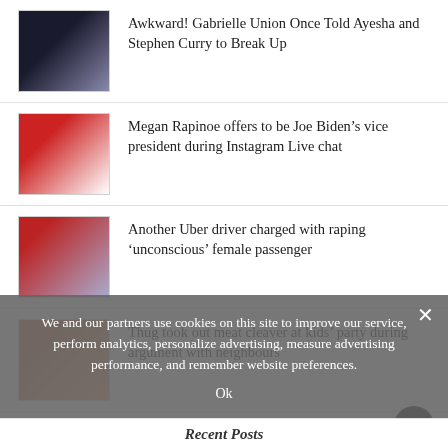Awkward! Gabrielle Union Once Told Ayesha and Stephen Curry to Break Up
Megan Rapinoe offers to be Joe Biden’s vice president during Instagram Live chat
Another Uber driver charged with raping ‘unconscious’ female passenger
Thug took out meat cleaver at kids’ party during argument with neighbours
A guide on how to get your vaccine in Victoria
Sexual Assault Survivors Share Heart-Wrenching Stories Live on C-SPAN During Kavanaugh Hearing
We and our partners use cookies on this site to improve our service, perform analytics, personalize advertising, measure advertising performance, and remember website preferences.
Recent Posts